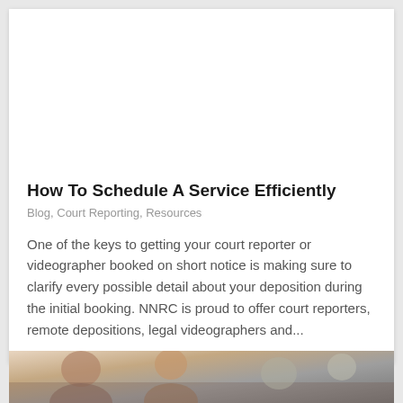[Figure (photo): Close-up photo of a calendar with large numbers and a blue pushpin stuck into the date 20]
How To Schedule A Service Efficiently
Blog, Court Reporting, Resources
One of the keys to getting your court reporter or videographer booked on short notice is making sure to clarify every possible detail about your deposition during the initial booking. NNRC is proud to offer court reporters, remote depositions, legal videographers and...
[Figure (photo): Partial photo at the bottom of the page showing people in a meeting or legal setting]